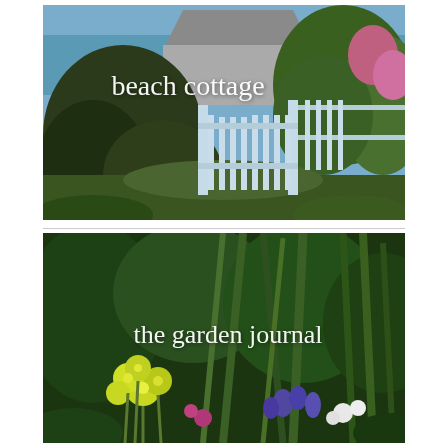[Figure (photo): Outdoor garden photo showing a white picket gate surrounded by green shrubs and trees, with a glimpse of the ocean and a rooftop in the background, overlaid with handwritten-style white text reading 'beach cottage']
[Figure (photo): Garden photo showing lush green plants, irises, yellow and white primula flowers, and purple blooms, overlaid with handwritten-style white text reading 'the garden journal']